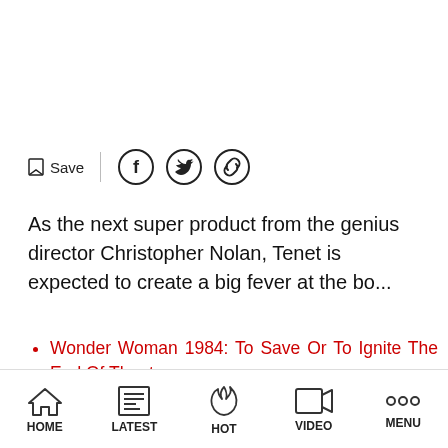[Figure (other): Save icon with bookmark, divider, and social sharing icons for Facebook, Twitter, and link]
As the next super product from the genius director Christopher Nolan, Tenet is expected to create a big fever at the bo...
Wonder Woman 1984: To Save Or To Ignite The End Of Theaters
Mulan and Liu Yifei are again nominated for the prestigious Hollywood award
Wonder Woman to be released online?
HOME | LATEST | HOT | VIDEO | MENU